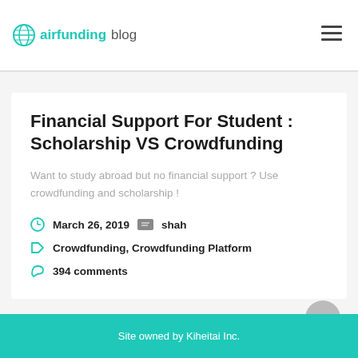airfunding blog
Financial Support For Student : Scholarship VS Crowdfunding
Want to study abroad but no financial support ? Use crowdfunding and scholarship !
March 26, 2019  shah
Crowdfunding, Crowdfunding Platform
394 comments
Site owned by Kiheitai Inc.